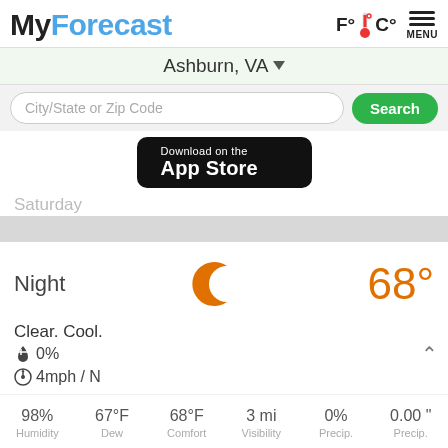MyForecast
F°🌡C°  MENU
Ashburn, VA ▼
City/State or Zip Code  Search
[Figure (screenshot): Download on the App Store badge]
Saturday
Night  68°
Clear. Cool.
☂ 0%
⊙ 4mph / N
| Humidity | Dew | Comfort | Visibility | Precip. | Precip. |
| --- | --- | --- | --- | --- | --- |
| 98% | 67°F | 68°F | 3 mi | 0% | 0.00 " |